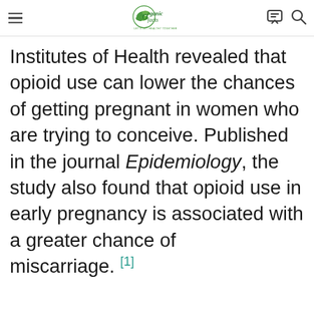Organic Facts - Let's Get Healthy Together
Institutes of Health revealed that opioid use can lower the chances of getting pregnant in women who are trying to conceive. Published in the journal Epidemiology, the study also found that opioid use in early pregnancy is associated with a greater chance of miscarriage. [1]